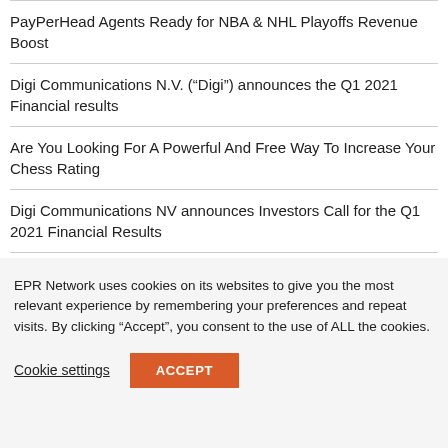PayPerHead Agents Ready for NBA & NHL Playoffs Revenue Boost
Digi Communications N.V. (“Digi”) announces the Q1 2021 Financial results
Are You Looking For A Powerful And Free Way To Increase Your Chess Rating
Digi Communications NV announces Investors Call for the Q1 2021 Financial Results
Digi Communications N.V. announces an Amendment to the 2021 Financial Calendar
EPR Network uses cookies on its websites to give you the most relevant experience by remembering your preferences and repeat visits. By clicking “Accept”, you consent to the use of ALL the cookies.
Cookie settings  ACCEPT